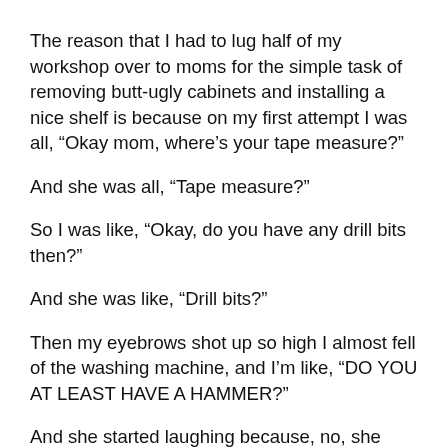The reason that I had to lug half of my workshop over to moms for the simple task of removing butt-ugly cabinets and installing a nice shelf is because on my first attempt I was all, “Okay mom, where’s your tape measure?”
And she was all, “Tape measure?”
So I was like, “Okay, do you have any drill bits then?”
And she was like, “Drill bits?”
Then my eyebrows shot up so high I almost fell of the washing machine, and I’m like, “DO YOU AT LEAST HAVE A HAMMER?”
And she started laughing because, no, she doesn’t have a hammer. And I’m thinking, woman, how did you ever birth a child that turned out like me? Holy hell, I know what she’s getting for Christmas this year.
But don’t worry people, even without half of the necessary